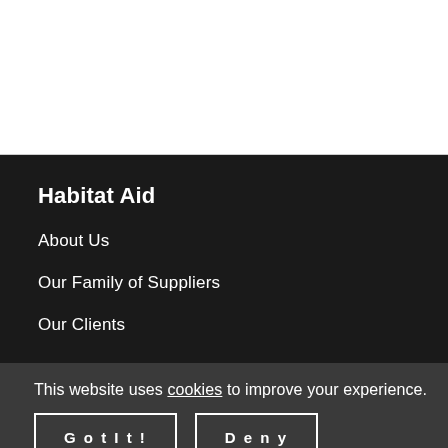Habitat Aid
About Us
Our Family of Suppliers
Our Clients
This website uses cookies to improve your experience.
Got It!  Deny